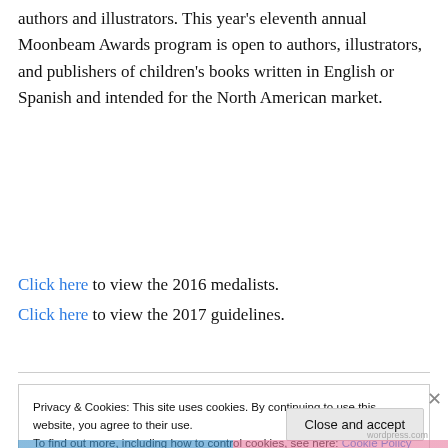authors and illustrators. This year's eleventh annual Moonbeam Awards program is open to authors, illustrators, and publishers of children's books written in English or Spanish and intended for the North American market.
Click here to view the 2016 medalists.
Click here to view the 2017 guidelines.
Privacy & Cookies: This site uses cookies. By continuing to use this website, you agree to their use.
To find out more, including how to control cookies, see here: Cookie Policy
Close and accept